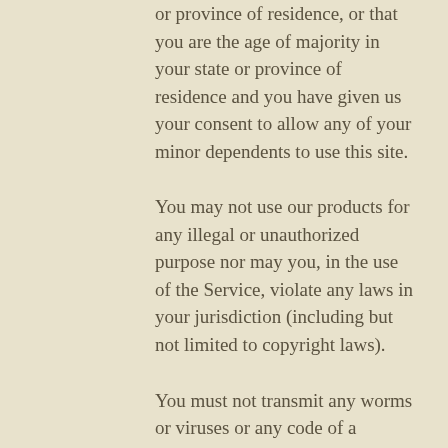or province of residence, or that you are the age of majority in your state or province of residence and you have given us your consent to allow any of your minor dependents to use this site.
You may not use our products for any illegal or unauthorized purpose nor may you, in the use of the Service, violate any laws in your jurisdiction (including but not limited to copyright laws).
You must not transmit any worms or viruses or any code of a destructive nature.